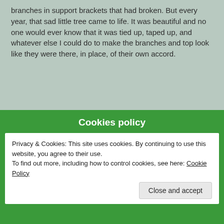branches in support brackets that had broken. But every year, that sad little tree came to life. It was beautiful and no one would ever know that it was tied up, taped up, and whatever else I could do to make the branches and top look like they were there, in place, of their own accord.
[Figure (photo): A decorated Christmas tree with colorful lights and ornaments, in front of reddish-brown curtains in a warmly lit room.]
Cookies policy
Privacy & Cookies: This site uses cookies. By continuing to use this website, you agree to their use.
To find out more, including how to control cookies, see here: Cookie Policy